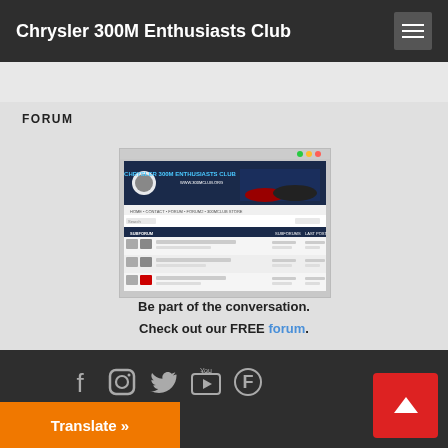Chrysler 300M Enthusiasts Club
FORUM
[Figure (screenshot): Screenshot of the Chrysler 300M Enthusiasts Club forum website at www.300mclub.org showing the forum header banner with cars and the forum listing page]
Be part of the conversation.
Check out our FREE forum.
Social media icons: Facebook, Instagram, Twitter, YouTube, Forum icon